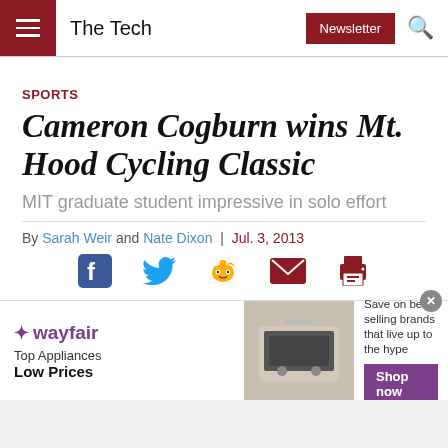The Tech | Newsletter
SPORTS
Cameron Cogburn wins Mt. Hood Cycling Classic
MIT graduate student impressive in solo effort
By Sarah Weir and Nate Dixon | Jul. 3, 2013
[Figure (infographic): Social sharing icons: Facebook, Twitter, Reddit, Email, Print]
From June 21 to 23, Cameron Valier Cogburn G competed in Oregon's Mt. Hood Cycling Classic
[Figure (infographic): Wayfair advertisement banner: Top Appliances Low Prices, Save on best selling brands that live up to the hype, Shop now button]